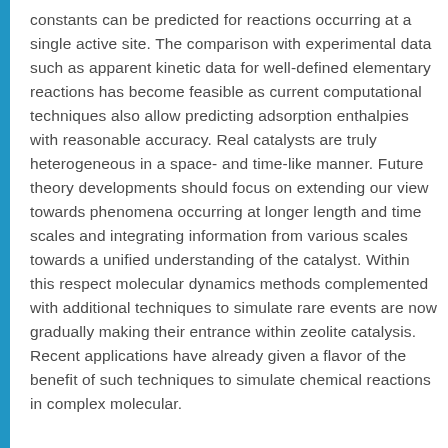constants can be predicted for reactions occurring at a single active site. The comparison with experimental data such as apparent kinetic data for well-defined elementary reactions has become feasible as current computational techniques also allow predicting adsorption enthalpies with reasonable accuracy. Real catalysts are truly heterogeneous in a space- and time-like manner. Future theory developments should focus on extending our view towards phenomena occurring at longer length and time scales and integrating information from various scales towards a unified understanding of the catalyst. Within this respect molecular dynamics methods complemented with additional techniques to simulate rare events are now gradually making their entrance within zeolite catalysis. Recent applications have already given a flavor of the benefit of such techniques to simulate chemical reactions in complex molecular.